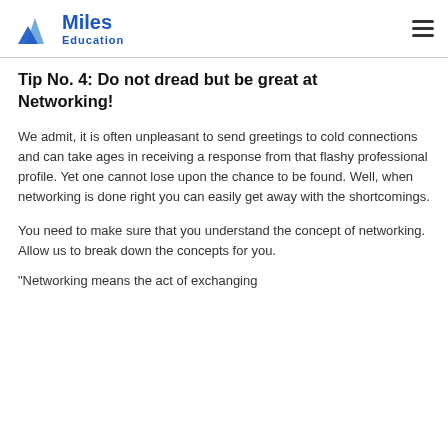Miles Education
Tip No. 4: Do not dread but be great at Networking!
We admit, it is often unpleasant to send greetings to cold connections and can take ages in receiving a response from that flashy professional profile. Yet one cannot lose upon the chance to be found. Well, when networking is done right you can easily get away with the shortcomings.
You need to make sure that you understand the concept of networking. Allow us to break down the concepts for you.
“Networking means the act of exchanging